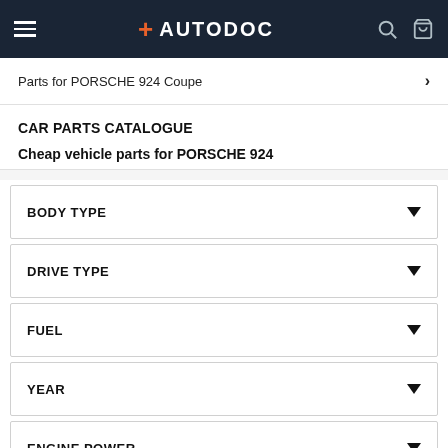AUTODOC
Parts for PORSCHE 924 Coupe
CAR PARTS CATALOGUE
Cheap vehicle parts for PORSCHE 924
BODY TYPE
DRIVE TYPE
FUEL
YEAR
ENGINE POWER